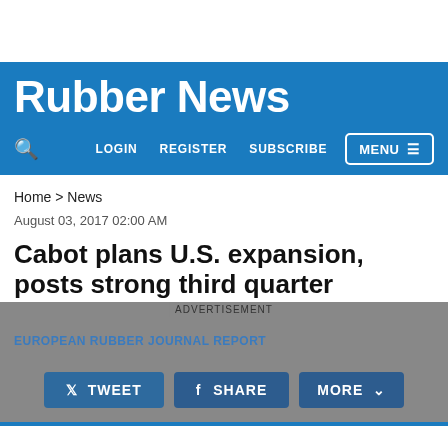Rubber News
LOGIN   REGISTER   SUBSCRIBE   MENU
Home > News
August 03, 2017 02:00 AM
Cabot plans U.S. expansion, posts strong third quarter
ADVERTISEMENT
EUROPEAN RUBBER JOURNAL REPORT
TWEET   SHARE   MORE